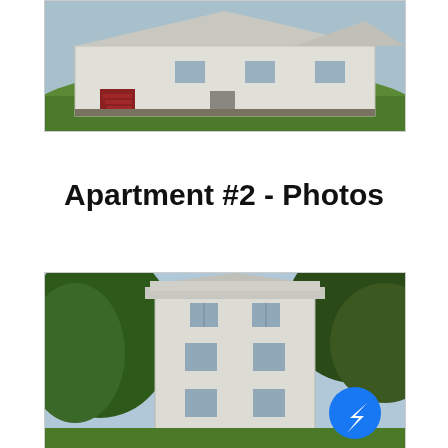[Figure (photo): Exterior photo of a white single-story building with red stairs on the left side, sitting on a green lawn with stone foundation visible.]
Apartment #2 - Photos
[Figure (photo): Exterior photo of a tall white multi-story apartment building surrounded by large trees, with a Facebook Messenger button overlaid in the bottom right corner.]